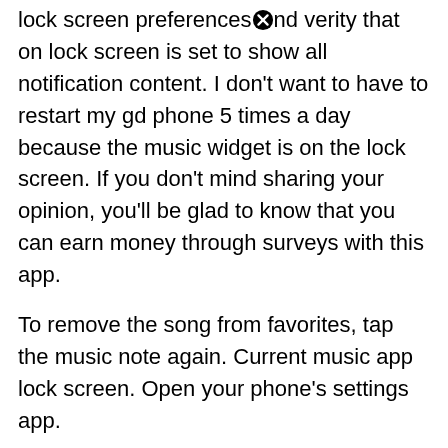lock screen preferences and verity that on lock screen is set to show all notification content. I don't want to have to restart my gd phone 5 times a day because the music widget is on the lock screen. If you don't mind sharing your opinion, you'll be glad to know that you can earn money through surveys with this app.
To remove the song from favorites, tap the music note again. Current music app lock screen. Open your phone's settings app.
If you aren't seeing any media notifications at all even while the phone is unlocked, check to see if do not disturb is currently active. Welcome to the latest version of the current unlimited offline music rewards experience! Hold the lock button and